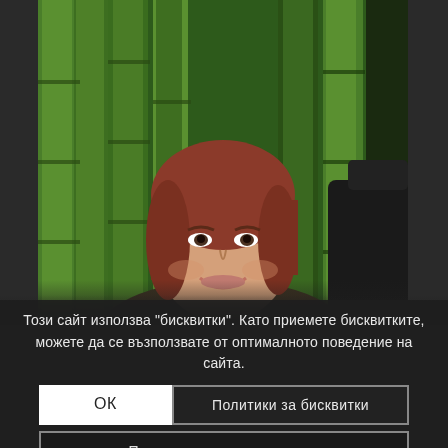[Figure (photo): Portrait photo of a smiling woman with reddish-brown hair, seated in front of a bamboo background. She is wearing a dark top and sitting in a dark chair.]
Този сайт използва "бисквитки". Като приемете бисквитките, можете да се възползвате от оптималното поведение на сайта.
ОК
Политики за бисквитки
Политики за поверителност